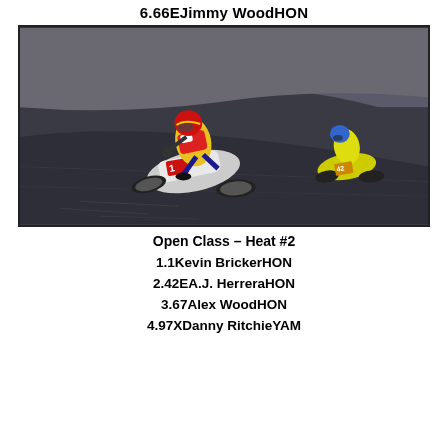6.66EJimmy WoodHON
[Figure (photo): Two motorcycle flat track racers leaning into a banked dirt/asphalt turn. The lead rider on a white bike with number 1 wears red/yellow gear; the second rider on a yellow bike is in the background. Action shot with motion blur on the track surface.]
Open Class – Heat #2
1.1Kevin BrickerHON
2.42EA.J. HerreraHON
3.67Alex WoodHON
4.97XDanny RitchieYAM